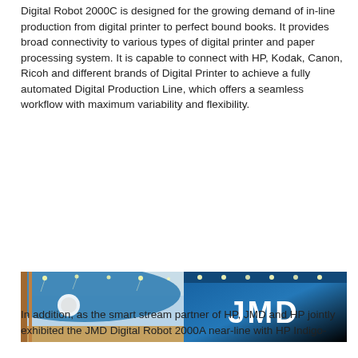Digital Robot 2000C is designed for the growing demand of in-line production from digital printer to perfect bound books. It provides broad connectivity to various types of digital printer and paper processing system. It is capable to connect with HP, Kodak, Canon, Ricoh and different brands of Digital Printer to achieve a fully automated Digital Production Line, which offers a seamless workflow with maximum variability and flexibility.
[Figure (photo): Two photos side by side: left shows a trade show display booth with blue curved backdrop and ceiling lights; right shows a close-up of a blue exhibition stand with large white JMD logo text.]
In addition, as the smart stream partner of HP, JMD and HP jointly exhibited the JMD Digital Robot 2000A near-line with HP Indigo-